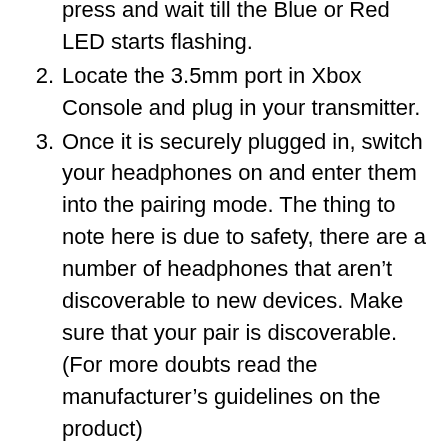press and wait till the Blue or Red LED starts flashing.
Locate the 3.5mm port in Xbox Console and plug in your transmitter.
Once it is securely plugged in, switch your headphones on and enter them into the pairing mode. The thing to note here is due to safety, there are a number of headphones that aren’t discoverable to new devices. Make sure that your pair is discoverable. (For more doubts read the manufacturer’s guidelines on the product)
Once you have your headphones discoverable, press the multifunction button on your Bluetooth transmitter for about 5 seconds. (longer if necessary) This will get your transmitter into pairing mode, allowing